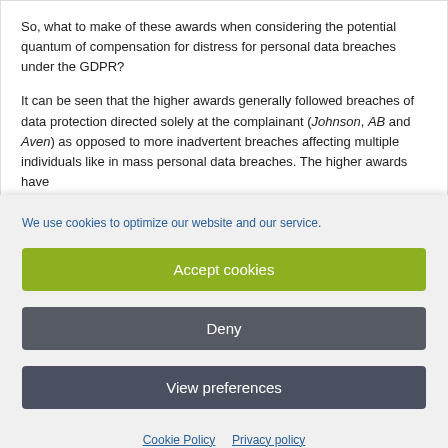So, what to make of these awards when considering the potential quantum of compensation for distress for personal data breaches under the GDPR?
It can be seen that the higher awards generally followed breaches of data protection directed solely at the complainant (Johnson, AB and Aven) as opposed to more inadvertent breaches affecting multiple individuals like in mass personal data breaches. The higher awards have
We use cookies to optimize our website and our service.
Accept cookies
Deny
View preferences
Cookie Policy   Privacy policy